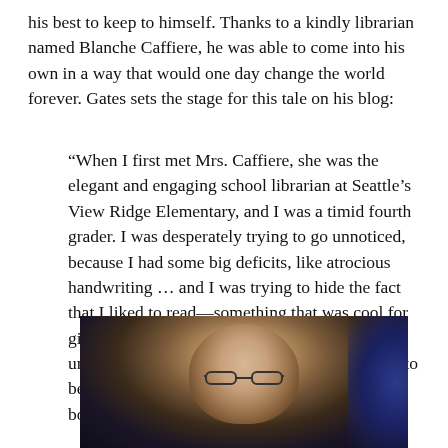his best to keep to himself. Thanks to a kindly librarian named Blanche Caffiere, he was able to come into his own in a way that would one day change the world forever. Gates sets the stage for this tale on his blog:
“When I first met Mrs. Caffiere, she was the elegant and engaging school librarian at Seattle’s View Ridge Elementary, and I was a timid fourth grader. I was desperately trying to go unnoticed, because I had some big deficits, like atrocious handwriting … and I was trying to hide the fact that I liked to read—something that was cool for girls but not for boys … Mrs. Caffiere took me under her wing and helped make it okay for me to be a messy, nerdy boy who was reading lots of books.”
[Figure (photo): Photo of Bill Gates from the shoulders up, smiling, against a dark background with blue lighting on the right side. He is wearing glasses.]